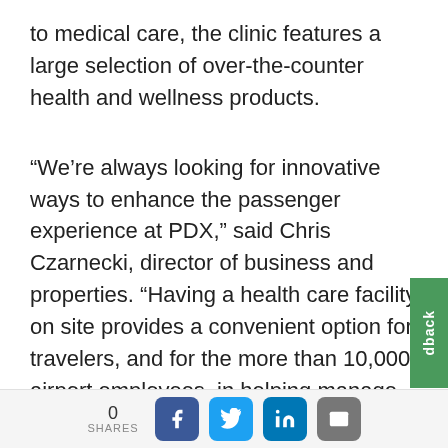to medical care, the clinic features a large selection of over-the-counter health and wellness products.
“We’re always looking for innovative ways to enhance the passenger experience at PDX,” said Chris Czarnecki, director of business and properties. “Having a health care facility on site provides a convenient option for travelers, and for the more than 10,000 airport employees, in helping manage their health and wellness.”
Providence Express Care at Portland International Airport is among a suite of mor